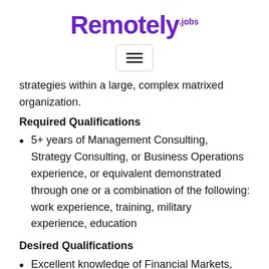[Figure (logo): Remotely.jobs logo in purple]
[Figure (screenshot): Hamburger menu button icon]
strategies within a large, complex matrixed organization.
Required Qualifications
5+ years of Management Consulting, Strategy Consulting, or Business Operations experience, or equivalent demonstrated through one or a combination of the following: work experience, training, military experience, education
Desired Qualifications
Excellent knowledge of Financial Markets,